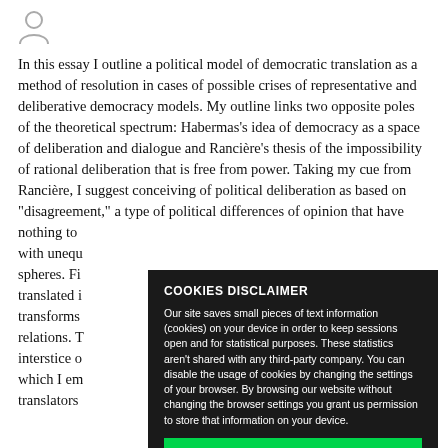[Figure (illustration): User/person icon (silhouette of a person) in the top-left corner]
In this essay I outline a political model of democratic translation as a method of resolution in cases of possible crises of representative and deliberative democracy models. My outline links two opposite poles of the theoretical spectrum: Habermas’s idea of democracy as a space of deliberation and dialogue and Rancière’s thesis of the impossibility of rational deliberation that is free from power. Taking my cue from Rancière, I suggest conceiving of political deliberation as based on “disagreement,” a type of political differences of opinion that have nothing to… with unequ… spheres. Fi… translated i… transforms… relations. T… interstice o… which I em… translators
COOKIES DISCLAIMER
Our site saves small pieces of text information (cookies) on your device in order to keep sessions open and for statistical purposes. These statistics aren't shared with any third-party company. You can disable the usage of cookies by changing the settings of your browser. By browsing our website without changing the browser settings you grant us permission to store that information on your device.
I AGREE